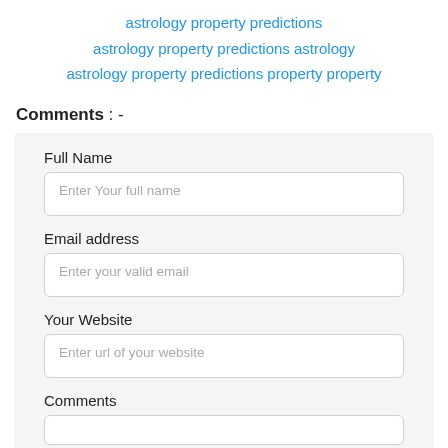astrology property predictions
astrology property predictions astrology
astrology property predictions property property
Comments : -
Full Name
Enter Your full name
Email address
Enter your valid email
Your Website
Enter url of your website
Comments